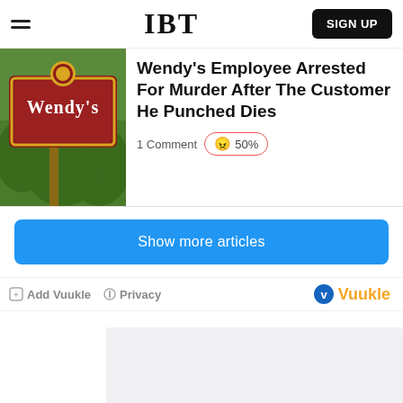IBT  SIGN UP
Wendy's Employee Arrested For Murder After The Customer He Punched Dies
1 Comment  😠 50%
Show more articles
Add Vuukle  Privacy  Vuukle
[Figure (other): Advertisement placeholder - light grey rectangle]